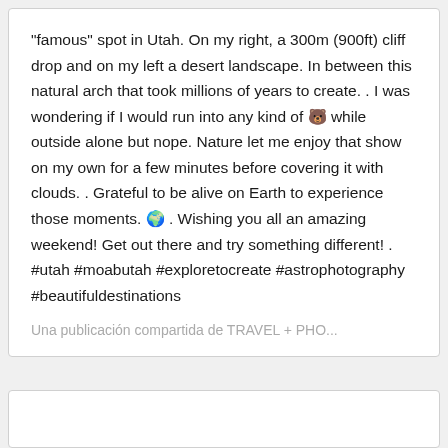“famous” spot in Utah. On my right, a 300m (900ft) cliff drop and on my left a desert landscape. In between this natural arch that took millions of years to create. . I was wondering if I would run into any kind of 🐻 while outside alone but nope. Nature let me enjoy that show on my own for a few minutes before covering it with clouds. . Grateful to be alive on Earth to experience those moments. 🌍 . Wishing you all an amazing weekend! Get out there and try something different! . #utah #moabutah #exploretocreate #astrophotography #beautifuldestinations
Una publicación compartida de TRAVEL + PHO...